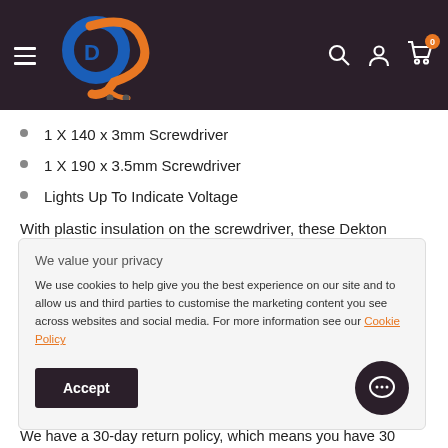[Figure (logo): E-commerce website header with logo (blue and orange circular logo), hamburger menu, search icon, user icon, and cart icon with badge showing 0]
1 X 140 x 3mm Screwdriver
1 X 190 x 3.5mm Screwdriver
Lights Up To Indicate Voltage
With plastic insulation on the screwdriver, these Dekton Voltage Tester are easy to use, helping users discover the presence or absence of
We value your privacy
We use cookies to help give you the best experience on our site and to allow us and third parties to customise the marketing content you see across websites and social media. For more information see our Cookie Policy
We have a 30-day return policy, which means you have 30 days after